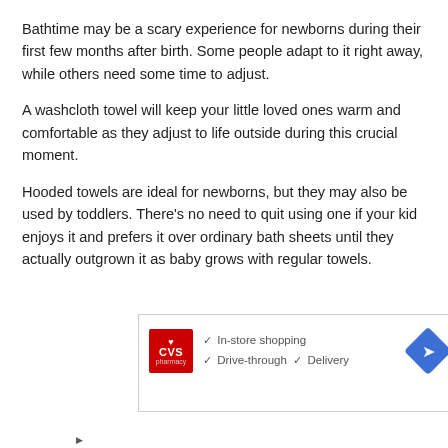Bathtime may be a scary experience for newborns during their first few months after birth. Some people adapt to it right away, while others need some time to adjust.
A washcloth towel will keep your little loved ones warm and comfortable as they adjust to life outside during this crucial moment.
Hooded towels are ideal for newborns, but they may also be used by toddlers. There’s no need to quit using one if your kid enjoys it and prefers it over ordinary bath sheets until they actually outgrown it as baby grows with regular towels.
[Figure (other): CVS Pharmacy advertisement showing in-store shopping, drive-through, and delivery options with CVS logo and navigation icon]